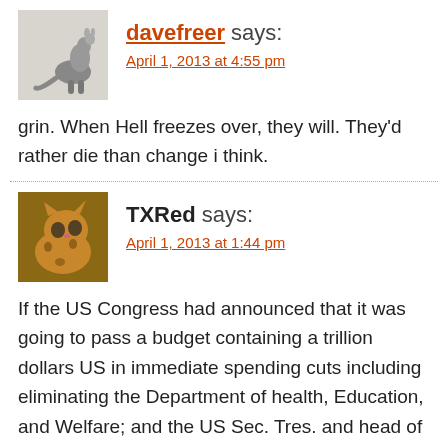[Figure (photo): Avatar photo of a kangaroo/wallaby on a white background]
davefreer says:
April 1, 2013 at 4:55 pm
grin. When Hell freezes over, they will. They'd rather die than change i think.
[Figure (photo): Avatar photo of a spotted wild cat (ocelot) looking up]
TXRed says:
April 1, 2013 at 1:44 pm
If the US Congress had announced that it was going to pass a budget containing a trillion dollars US in immediate spending cuts including eliminating the Department of health, Education, and Welfare; and the US Sec. Tres. and head of the Federal Reserve had